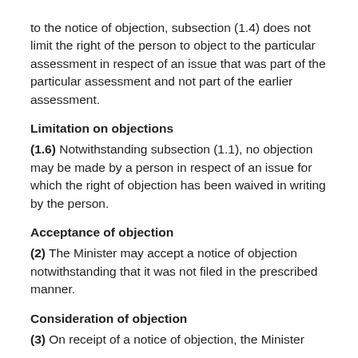to the notice of objection, subsection (1.4) does not limit the right of the person to object to the particular assessment in respect of an issue that was part of the particular assessment and not part of the earlier assessment.
Limitation on objections
(1.6) Notwithstanding subsection (1.1), no objection may be made by a person in respect of an issue for which the right of objection has been waived in writing by the person.
Acceptance of objection
(2) The Minister may accept a notice of objection notwithstanding that it was not filed in the prescribed manner.
Consideration of objection
(3) On receipt of a notice of objection, the Minister